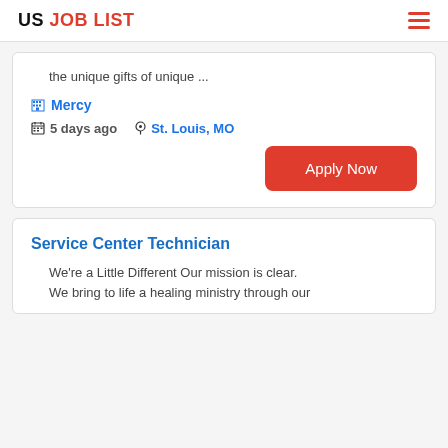US JOB LIST
the unique gifts of unique ...
Mercy
5 days ago   St. Louis, MO
Apply Now
Service Center Technician
We're a Little Different Our mission is clear. We bring to life a healing ministry through our